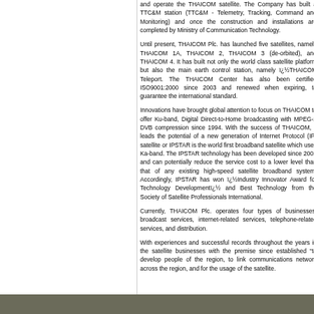and operate the THAICOM satellite. The Company has built a TTC&M station (TTC&M - Telemetry, Tracking, Command and Monitoring) and once the construction and installations are completed by Ministry of Communication Technology.
Until present, THAICOM Plc. has launched five satellites, namely THAICOM 1A, THAICOM 2, THAICOM 3 (de-orbited), and THAICOM 4. It has built not only the world class satellite platform but also the main earth control station, namely ï¿½THAICOM Teleport. The THAICOM Center has also been certified ISO9001:2000 since 2003 and renewed when expiring, to guarantee the international standard.
Innovations have brought global attention to focus on THAICOM to offer Ku-band, Digital Direct-to-Home broadcasting with MPEG-2 DVB compression since 1994. With the success of THAICOM, it leads the potential of a new generation of Internet Protocol (IP) satellite or IPSTAR is the world first broadband satellite which uses Ka-band. The IPSTAR technology has been developed since 2001 and can potentially reduce the service cost to a lower level than that of any existing high-speed satellite broadband system. Accordingly, IPSTAR has won ï¿½Industry Innovator Award for Technology Developmentï¿½ and Best Technology from the Society of Satellite Professionals International.
Currently, THAICOM Plc. operates four types of businesses; broadcast services, internet-related services, telephone-related services, and distribution.
With experiences and successful records throughout the years in the satellite businesses with the premise since established âto develop people of the region, to link communications network across the region, and for the usage of the satellite.